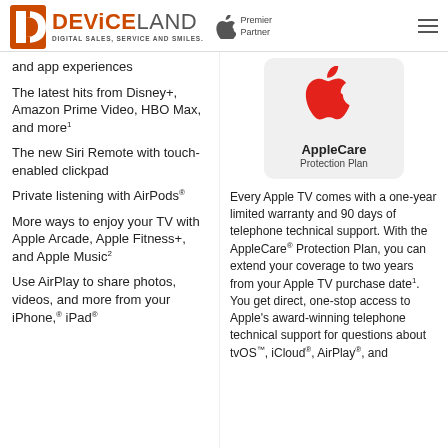DEVICELAND — DIGITAL SALES, SERVICE AND SMILES. Apple Premier Partner
and app experiences
The latest hits from Disney+, Amazon Prime Video, HBO Max, and more1
The new Siri Remote with touch-enabled clickpad
Private listening with AirPods®
More ways to enjoy your TV with Apple Arcade, Apple Fitness+, and Apple Music2
Use AirPlay to share photos, videos, and more from your iPhone,® iPad®
[Figure (logo): AppleCare Protection Plan logo with red Apple icon on light gray rounded rectangle background]
Every Apple TV comes with a one-year limited warranty and 90 days of telephone technical support. With the AppleCare® Protection Plan, you can extend your coverage to two years from your Apple TV purchase date1. You get direct, one-stop access to Apple's award-winning telephone technical support for questions about tvOS™, iCloud®, AirPlay®, and